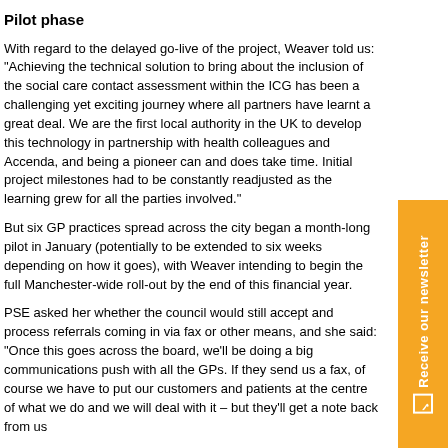Pilot phase
With regard to the delayed go-live of the project, Weaver told us: “Achieving the technical solution to bring about the inclusion of the social care contact assessment within the ICG has been a challenging yet exciting journey where all partners have learnt a great deal. We are the first local authority in the UK to develop this technology in partnership with health colleagues and Accenda, and being a pioneer can and does take time. Initial project milestones had to be constantly readjusted as the learning grew for all the parties involved.”
But six GP practices spread across the city began a month-long pilot in January (potentially to be extended to six weeks depending on how it goes), with Weaver intending to begin the full Manchester-wide roll-out by the end of this financial year.
PSE asked her whether the council would still accept and process referrals coming in via fax or other means, and she said: “Once this goes across the board, we’ll be doing a big communications push with all the GPs. If they send us a fax, of course we have to put our customers and patients at the centre of what we do and we will deal with it – but they’ll get a note back from us